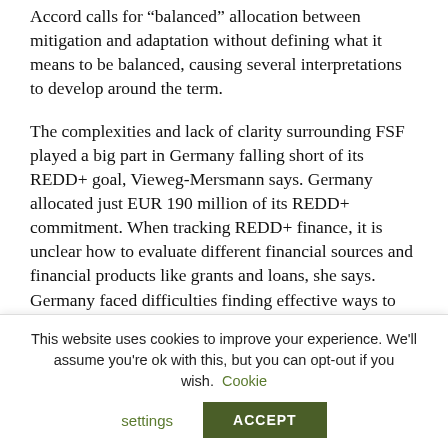Accord calls for “balanced” allocation between mitigation and adaptation without defining what it means to be balanced, causing several interpretations to develop around the term.
The complexities and lack of clarity surrounding FSF played a big part in Germany falling short of its REDD+ goal, Vieweg-Mersmann says. Germany allocated just EUR 190 million of its REDD+ commitment. When tracking REDD+ finance, it is unclear how to evaluate different financial sources and financial products like grants and loans, she says. Germany faced difficulties finding effective ways to spend the funds on both REDD+ and adaptation.
This website uses cookies to improve your experience. We’ll assume you’re ok with this, but you can opt-out if you wish. Cookie settings ACCEPT